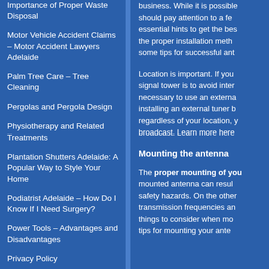Importance of Proper Waste Disposal
Motor Vehicle Accident Claims – Motor Accident Lawyers Adelaide
Palm Tree Care – Tree Cleaning
Pergolas and Pergola Design
Physiotherapy and Related Treatments
Plantation Shutters Adelaide: A Popular Way to Style Your Home
Podiatrist Adelaide – How Do I Know If I Need Surgery?
Power Tools – Advantages and Disadvantages
Privacy Policy
Professional Fencing Services
business. While it is possible should pay attention to a fe essential hints to get the bes the proper installation meth some tips for successful ant
Location is important. If you signal tower is to avoid inter necessary to use an externa installing an external tuner b regardless of your location, y broadcast. Learn more here
Mounting the antenna
The proper mounting of you mounted antenna can resul safety hazards. On the other transmission frequencies an things to consider when mo tips for mounting your ante